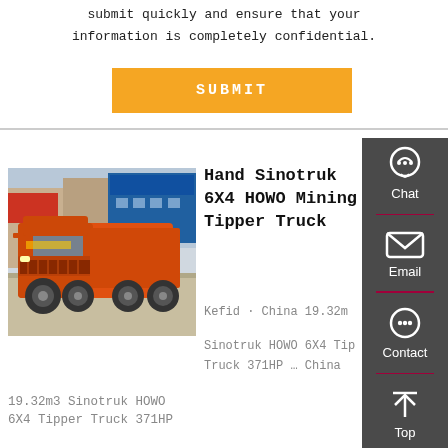submit quickly and ensure that your information is completely confidential.
SUBMIT
[Figure (photo): Orange Sinotruk HOWO 6X4 tipper truck parked in front of commercial buildings with blue and red signage]
Hand Sinotruk 6X4 HOWO Mining Tipper Truck
Kefid · China 19.32m...
Sinotruk HOWO 6X4 Tipper Truck 371HP … China
19.32m3 Sinotruk HOWO 6X4 Tipper Truck 371HP
[Figure (infographic): Dark gray side panel with Chat, Email, Contact, and Top navigation icons]